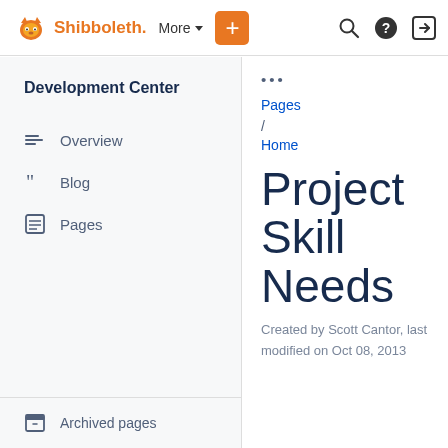Shibboleth | More | + | Search | Help | Login
Development Center
Overview
Blog
Pages
Archived pages
...
Pages
/
Home
Project Skill Needs
Created by Scott Cantor, last modified on Oct 08, 2013